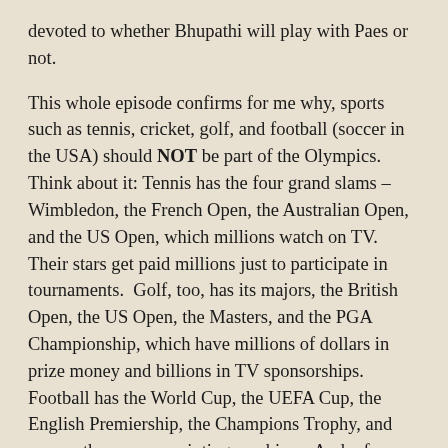devoted to whether Bhupathi will play with Paes or not.
This whole episode confirms for me why, sports such as tennis, cricket, golf, and football (soccer in the USA) should NOT be part of the Olympics. Think about it: Tennis has the four grand slams – Wimbledon, the French Open, the Australian Open, and the US Open, which millions watch on TV. Their stars get paid millions just to participate in tournaments.  Golf, too, has its majors, the British Open, the US Open, the Masters, and the PGA Championship, which have millions of dollars in prize money and billions in TV sponsorships. Football has the World Cup, the UEFA Cup, the English Premiership, the Champions Trophy, and many other money-minting machines. And, of cricket, the less said the better.
So these sports get plenty of exposure; they have lots of people who will spend hours on end watching them on TV, and there is no dearth of